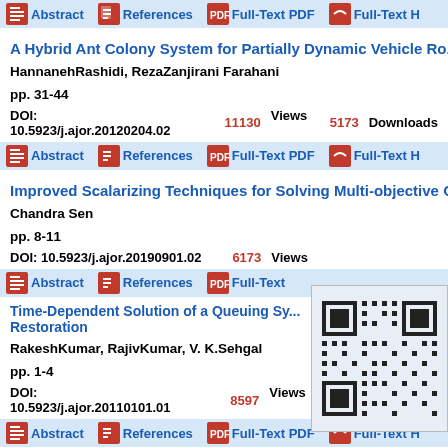Abstract | References | Full-Text PDF | Full-Text H
A Hybrid Ant Colony System for Partially Dynamic Vehicle Ro...
HannanehRashidi, RezaZanjirani Farahani
pp. 31-44
DOI: 10.5923/j.ajor.20120204.02   11130 Views   5173 Downloads
Abstract | References | Full-Text PDF | Full-Text H
Improved Scalarizing Techniques for Solving Multi-objective O...
Chandra Sen
pp. 8-11
DOI: 10.5923/j.ajor.20190901.02   6173 Views
Abstract | References | Full-Text ...
[Figure (other): QR code]
Time-Dependent Solution of a Queuing Sy... Restoration
RakeshKumar, RajivKumar, V. K.Sehgal
pp. 1-4
DOI: 10.5923/j.ajor.20110101.01   8597 Views   4467 Downloads
Abstract | References | Full-Text PDF | Full-Text H